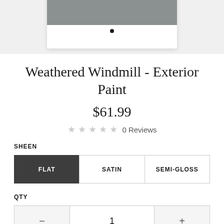[Figure (illustration): Paint color swatch card showing a grey-green color (Weathered Windmill) on a white card with a small black dot indicator below the color area, displayed on a light grey background.]
Weathered Windmill - Exterior Paint
$61.99
0 Reviews
SHEEN
FLAT
SATIN
SEMI-GLOSS
QTY
1